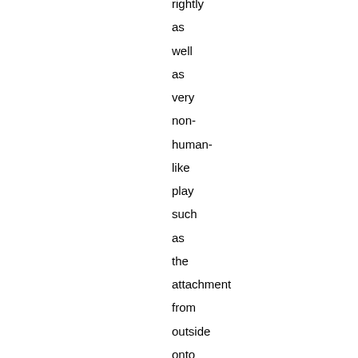rightly as well as very non-human-like play such as the attachment from outside onto the lonely white stone on the right: